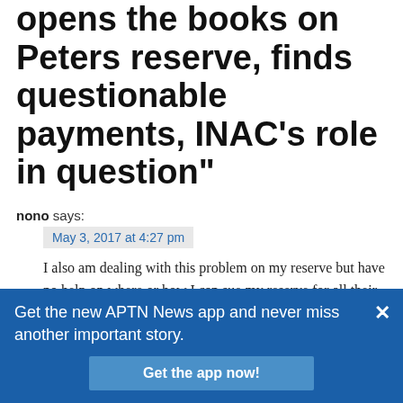opens the books on Peters reserve, finds questionable payments, INAC’s role in question”
nono says:
May 3, 2017 at 4:27 pm
I also am dealing with this problem on my reserve but have no help on where or how I can sue my reserve for all their wrong doing on kwaw kwaw apilt reserve the councillor receive 100 000 for being a councillor n chief appoints her family as council which is not rite we need
Get the new APTN News app and never miss another important story.
Get the app now!